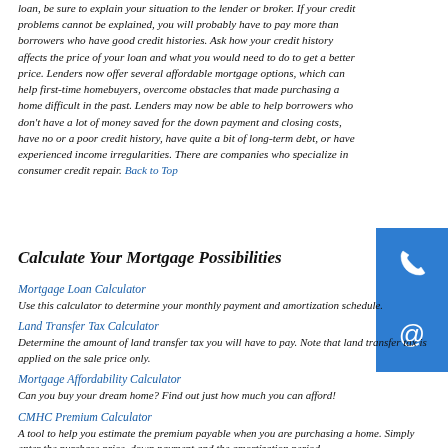loan, be sure to explain your situation to the lender or broker. If your credit problems cannot be explained, you will probably have to pay more than borrowers who have good credit histories. Ask how your credit history affects the price of your loan and what you would need to do to get a better price. Lenders now offer several affordable mortgage options, which can help first-time homebuyers, overcome obstacles that made purchasing a home difficult in the past. Lenders may now be able to help borrowers who don't have a lot of money saved for the down payment and closing costs, have no or a poor credit history, have quite a bit of long-term debt, or have experienced income irregularities. There are companies who specialize in consumer credit repair. Back to Top
Calculate Your Mortgage Possibilities
Mortgage Loan Calculator
Use this calculator to determine your monthly payment and amortization schedule.
Land Transfer Tax Calculator
Determine the amount of land transfer tax you will have to pay. Note that land transfer tax is applied on the sale price only.
Mortgage Affordability Calculator
Can you buy your dream home? Find out just how much you can afford!
CMHC Premium Calculator
A tool to help you estimate the premium payable when you are purchasing a home. Simply enter the purchase price, down payment and the amortization period.
[Figure (other): Blue sidebar button with phone icon]
[Figure (other): Blue sidebar button with email/at icon]